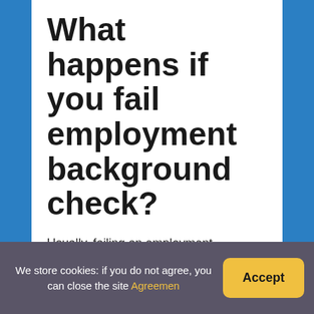What happens if you fail employment background check?
Usually, failing an employment screening will mean that you need to find a different job. An offense or red flag that leads to disqualification from one hiring process might not have the same impact everywhere. Some employers are more lenient and are willing to give candidates second chances.
We store cookies: if you do not agree, you can close the site Agreemen